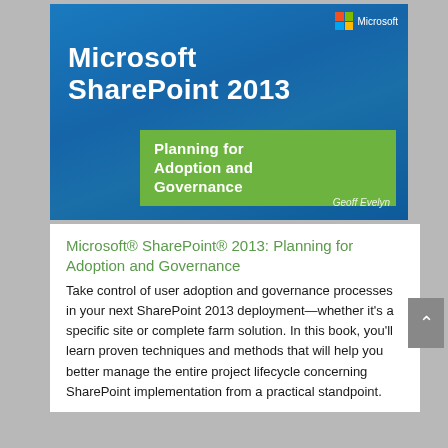[Figure (illustration): Book cover for 'Microsoft SharePoint 2013: Planning for Adoption and Governance' by Geoff Evelyn. Blue gradient background with Microsoft logo in top right, white bold title text, green subtitle bar with white text, and author name in bottom right.]
Microsoft® SharePoint® 2013: Planning for Adoption and Governance
Take control of user adoption and governance processes in your next SharePoint 2013 deployment—whether it's a specific site or complete farm solution. In this book, you'll learn proven techniques and methods that will help you better manage the entire project lifecycle concerning SharePoint implementation from a practical standpoint.